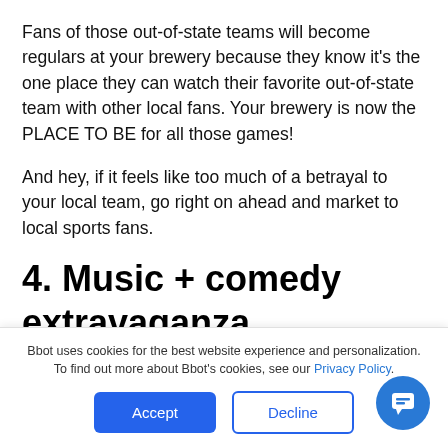Fans of those out-of-state teams will become regulars at your brewery because they know it's the one place they can watch their favorite out-of-state team with other local fans. Your brewery is now the PLACE TO BE for all those games!
And hey, if it feels like too much of a betrayal to your local team, go right on ahead and market to local sports fans.
4. Music + comedy
extravaganza
Bbot uses cookies for the best website experience and personalization. To find out more about Bbot's cookies, see our Privacy Policy.